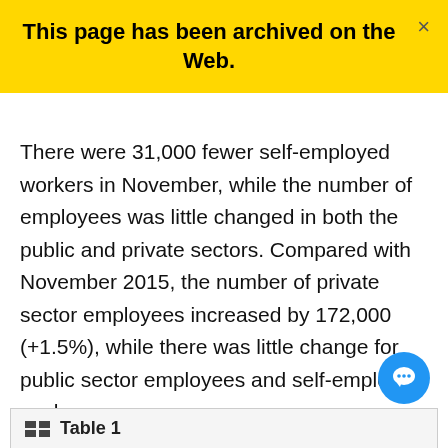This page has been archived on the Web.
There were 31,000 fewer self-employed workers in November, while the number of employees was little changed in both the public and private sectors. Compared with November 2015, the number of private sector employees increased by 172,000 (+1.5%), while there was little change for public sector employees and self-employed workers.
| Table 1 |
| --- |